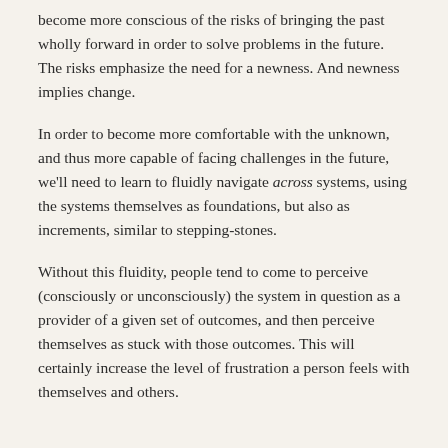become more conscious of the risks of bringing the past wholly forward in order to solve problems in the future. The risks emphasize the need for a newness. And newness implies change.
In order to become more comfortable with the unknown, and thus more capable of facing challenges in the future, we'll need to learn to fluidly navigate across systems, using the systems themselves as foundations, but also as increments, similar to stepping-stones.
Without this fluidity, people tend to come to perceive (consciously or unconsciously) the system in question as a provider of a given set of outcomes, and then perceive themselves as stuck with those outcomes. This will certainly increase the level of frustration a person feels with themselves and others.